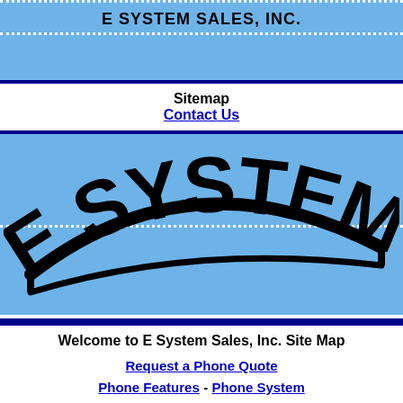E SYSTEM SALES, INC.
Sitemap
Contact Us
[Figure (logo): E SYSTEM logo in bold black text arched over a curved baseline, on a light blue background]
Welcome to E System Sales, Inc. Site Map
Request a Phone Quote
Phone Features - Phone System
What a Phone System Can Do
Music on Hold - Auto Attendant